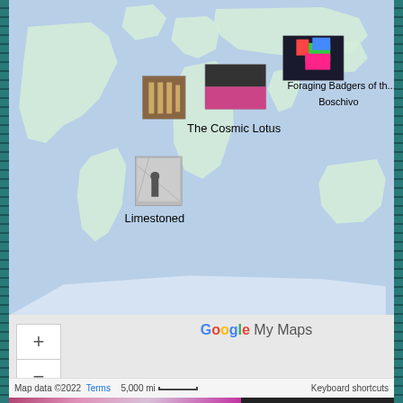[Figure (screenshot): Google My Maps screenshot showing a world map with location pins/thumbnails labeled 'Foraging Badgers of th...', 'Boschivo', 'The Cosmic Lotus', and 'Limestoned'. Includes zoom controls (+/-), Google My Maps branding, and map footer with 'Map data ©2022', 'Terms', '5,000 mi' scale bar, and 'Keyboard shortcuts'.]
[Figure (photo): Close-up photo of colorful succulent plant with pink and white/gray petals arranged in a rosette pattern, surrounded by pink flowers.]